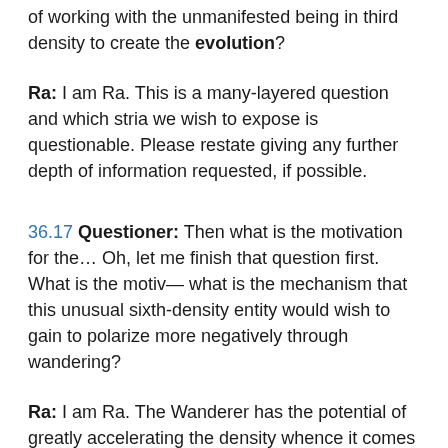of working with the unmanifested being in third density to create the evolution?
Ra: I am Ra. This is a many-layered question and which stria we wish to expose is questionable. Please restate giving any further depth of information requested, if possible.
36.17 Questioner: Then what is the motivation for the… Oh, let me finish that question first. What is the motiv— what is the mechanism that this unusual sixth-density entity would wish to gain to polarize more negatively through wandering?
Ra: I am Ra. The Wanderer has the potential of greatly accelerating the density whence it comes in its progress in evolution. This is due to the intensive life experiences and opportunities of the third density. Thusly the positively oriented Wanderer chooses to hazard the danger of the